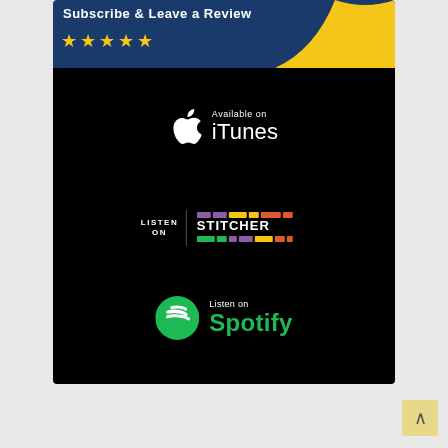[Figure (infographic): Subscribe & Leave a Review banner with five gold stars on a dark blue background with gold wave accent, followed by black section containing Available on iTunes badge, Listen on Stitcher badge, and Listen on Spotify badge. A back-to-top button appears in the bottom right.]